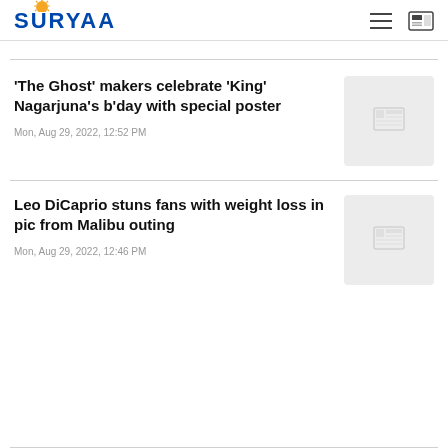SURYAA
'The Ghost' makers celebrate 'King' Nagarjuna's b'day with special poster
Mon, Aug 29, 2022, 12:52 PM
Leo DiCaprio stuns fans with weight loss in pic from Malibu outing
Mon, Aug 29, 2022, 12:46 PM